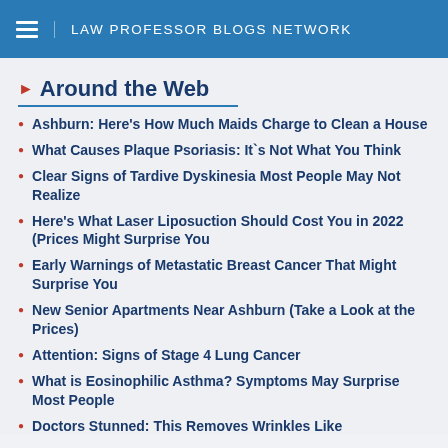LAW PROFESSOR BLOGS NETWORK
Around the Web
Ashburn: Here's How Much Maids Charge to Clean a House
What Causes Plaque Psoriasis: It`s Not What You Think
Clear Signs of Tardive Dyskinesia Most People May Not Realize
Here's What Laser Liposuction Should Cost You in 2022 (Prices Might Surprise You
Early Warnings of Metastatic Breast Cancer That Might Surprise You
New Senior Apartments Near Ashburn (Take a Look at the Prices)
Attention: Signs of Stage 4 Lung Cancer
What is Eosinophilic Asthma? Symptoms May Surprise Most People
Doctors Stunned: This Removes Wrinkles Like